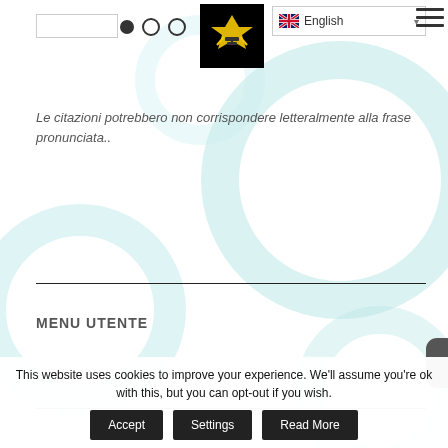● ○ ○  English  ☰
[Figure (logo): Website logo: black square with yellow military/insignia badge icon]
Le citazioni potrebbero non corrispondere letteralmente alla frase pronunciata..
MENU UTENTE
Accedi
This website uses cookies to improve your experience. We'll assume you're ok with this, but you can opt-out if you wish.